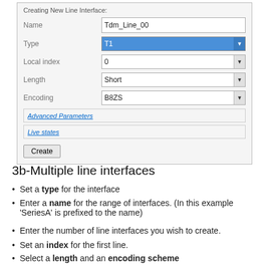[Figure (screenshot): Form dialog for Creating New Line Interface with fields: Name (Tdm_Line_00), Type (T1 selected/highlighted), Local index (0), Length (Short), Encoding (B8ZS), Advanced Parameters section, Live states section, and a Create button.]
3b-Multiple line interfaces
Set a type for the interface
Enter a name for the range of interfaces. (In this example 'SeriesA' is prefixed to the name)
Enter the number of line interfaces you wish to create.
Set an index for the first line.
Select a length and an encoding scheme
Click Create